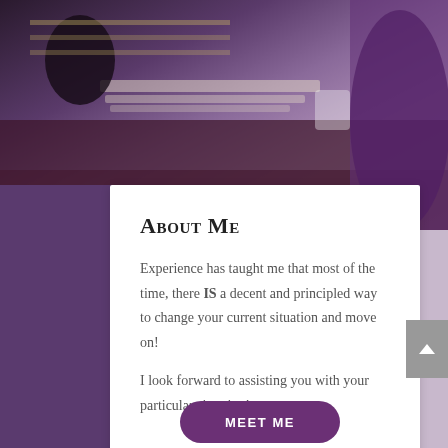[Figure (photo): Office/desk scene with purple overlay — two people at a conference table with papers and a mug, purple-tinted background]
About Me
Experience has taught me that most of the time, there IS a decent and principled way to change your current situation and move on!
I look forward to assisting you with your particular situation!
MEET ME